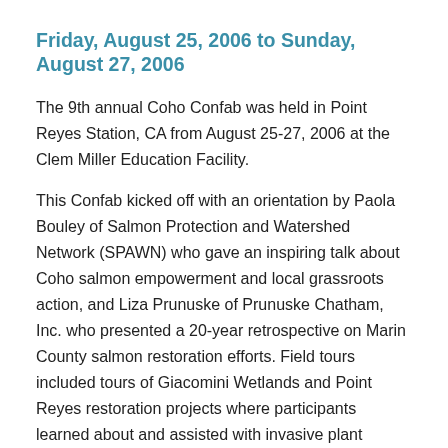Friday, August 25, 2006 to Sunday, August 27, 2006
The 9th annual Coho Confab was held in Point Reyes Station, CA from August 25-27, 2006 at the Clem Miller Education Facility.
This Confab kicked off with an orientation by Paola Bouley of Salmon Protection and Watershed Network (SPAWN) who gave an inspiring talk about Coho salmon empowerment and local grassroots action, and Liza Prunuske of Prunuske Chatham, Inc. who presented a 20-year retrospective on Marin County salmon restoration efforts. Field tours included tours of Giacomini Wetlands and Point Reyes restoration projects where participants learned about and assisted with invasive plant removal and a tour of sustainable farm management practices that addressed water quality and habitat conservation